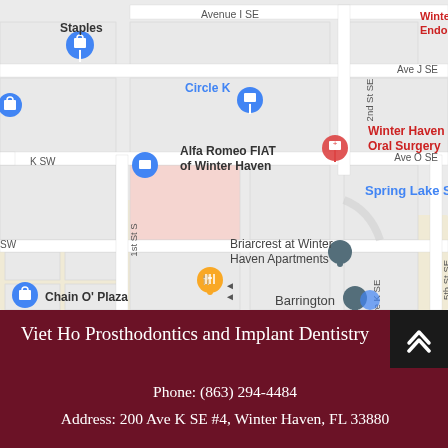[Figure (map): Google Maps view of Winter Haven, FL showing streets including Avenue I SE, Ave J SE, Ave K SE, Ave O SE, 1st St S, 2nd St SE, 5th St SE. Landmarks visible include Staples, Circle K, Alfa Romeo FIAT of Winter Haven, Winter Haven Oral Surgery, Winter Haven Endodontics, Spring Lake Square, Briarcrest at Winter Haven Apartments, Barrington, Chain O' Plaza.]
Viet Ho Prosthodontics and Implant Dentistry
Phone: (863) 294-4484
Address: 200 Ave K SE #4, Winter Haven, FL 33880